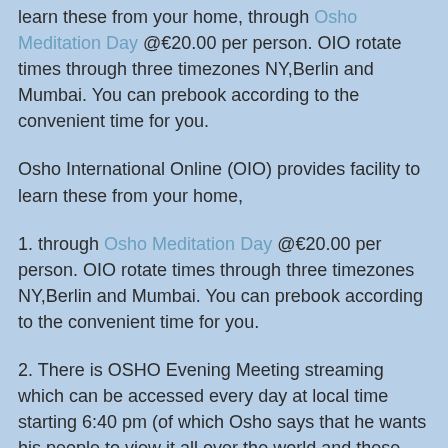learn these from your home, through Osho Meditation Day @€20.00 per person. OIO rotate times through three timezones NY,Berlin and Mumbai. You can prebook according to the convenient time for you.
Osho International Online (OIO) provides facility to learn these from your home,
1. through Osho Meditation Day @€20.00 per person. OIO rotate times through three timezones NY,Berlin and Mumbai. You can prebook according to the convenient time for you.
2. There is OSHO Evening Meeting streaming which can be accessed every day at local time starting 6:40 pm (of which Osho says that he wants his people to view it all over the world and these days it is possible) and 16 of the meditations mostly with